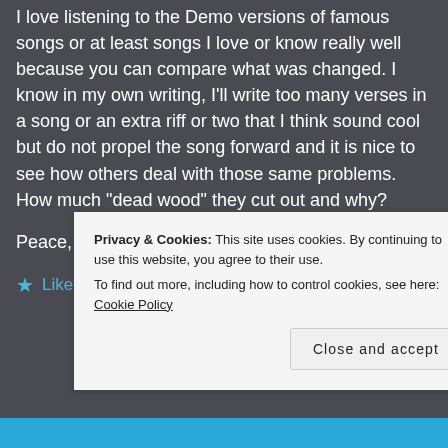I love listening to the Demo versions of famous songs or at least songs I love or know really well because you can compare what was changed. I know in my own writing, I'll write too many verses in a song or an extra riff or two that I think sound cool but do not propel the song forward and it is nice to see how others deal with those same problems. How much "dead wood" they cut out and why?
Peace,
★ Like
Privacy & Cookies: This site uses cookies. By continuing to use this website, you agree to their use.
To find out more, including how to control cookies, see here: Cookie Policy
Close and accept